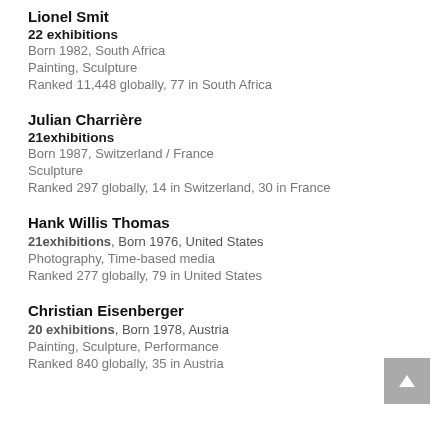Lionel Smit
22 exhibitions
Born 1982, South Africa
Painting, Sculpture
Ranked 11,448 globally, 77 in South Africa
Julian Charrière
21exhibitions
Born 1987, Switzerland / France
Sculpture
Ranked 297 globally, 14 in Switzerland, 30 in France
Hank Willis Thomas
21exhibitions, Born 1976, United States
Photography, Time-based media
Ranked 277 globally, 79 in United States
Christian Eisenberger
20 exhibitions, Born 1978, Austria
Painting, Sculpture, Performance
Ranked 840 globally, 35 in Austria